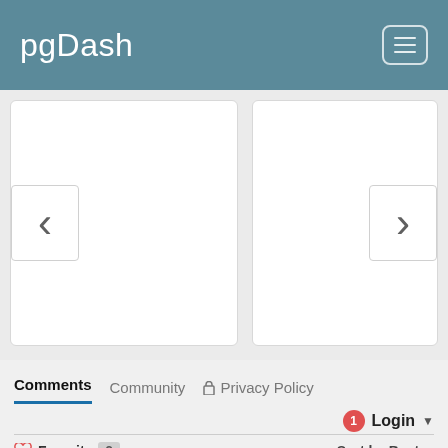pgDash
[Figure (screenshot): Carousel with left and right navigation arrows, two white panel areas side by side]
Comments  Community  🔒 Privacy Policy
1  Login ▼
♡ Favorite  2    Sort by Best ▼
Join the discussion...